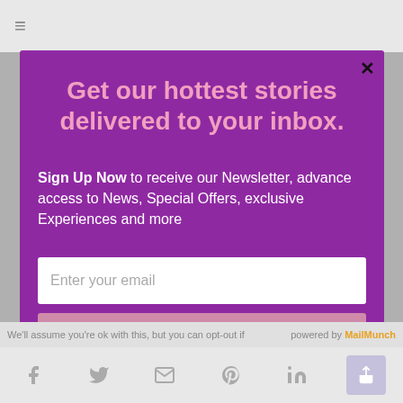[Figure (screenshot): Newsletter signup modal popup on a website. Purple background modal with title 'Get our hottest stories delivered to your inbox.', body text about signing up, email input field, and Submit button. Behind the modal is a blurred website with hamburger menu at top and social sharing icons at bottom.]
Get our hottest stories delivered to your inbox.
Sign Up Now to receive our Newsletter, advance access to News, Special Offers, exclusive Experiences and more
Enter your email
Submit
We'll assume you're ok with this, but you can opt-out if
powered by MailMunch